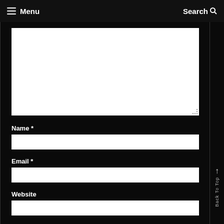Menu  Search
[Figure (screenshot): Web form with a large textarea for comment, followed by Name, Email, and Website input fields on a dark background, with a Back To Top sidebar button on the right.]